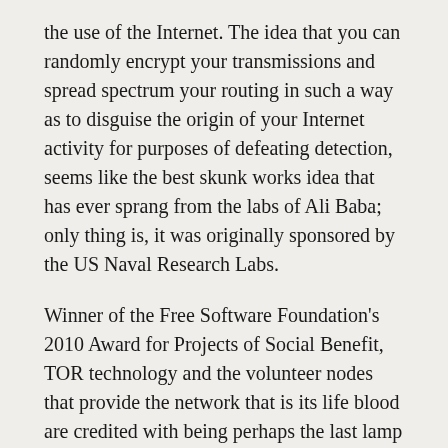the use of the Internet. The idea that you can randomly encrypt your transmissions and spread spectrum your routing in such a way as to disguise the origin of your Internet activity for purposes of defeating detection, seems like the best skunk works idea that has ever sprang from the labs of Ali Baba; only thing is, it was originally sponsored by the US Naval Research Labs.
Winner of the Free Software Foundation's 2010 Award for Projects of Social Benefit, TOR technology and the volunteer nodes that provide the network that is its life blood are credited with being perhaps the last lamp of freedom in societies that seek to imprison their people and end even the merest whisper of dissent. Which is why you would expect to find the greatest concentration of TOR routers in one of two